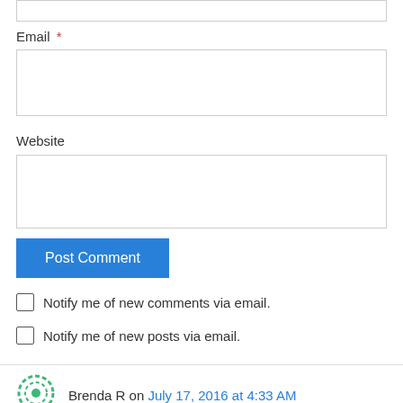Email *
Website
Post Comment
Notify me of new comments via email.
Notify me of new posts via email.
Brenda R on July 17, 2016 at 4:33 AM